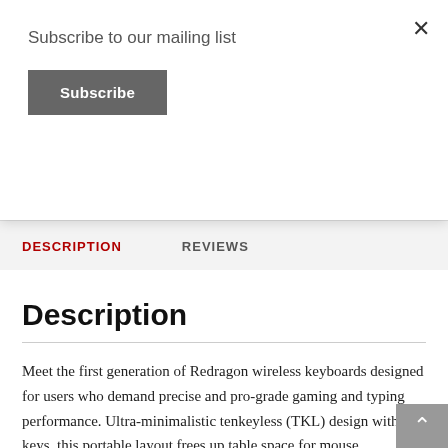Subscribe to our mailing list
Subscribe
×
DESCRIPTION
REVIEWS
Description
Meet the first generation of Redragon wireless keyboards designed for users who demand precise and pro-grade gaming and typing performance. Ultra-minimalistic tenkeyless (TKL) design with 61 keys, this portable layout frees up table space for mouse movement, which offers